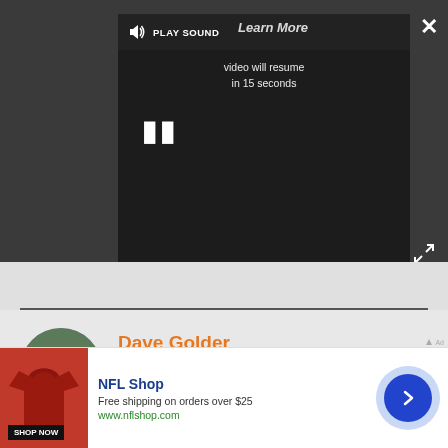[Figure (screenshot): Video player with dark background showing 'PLAY SOUND' button, 'Learn More' text overlay, 'video will resume in 15 seconds' message, pause button, close X button, and fullscreen expand icon]
Dave Golder
Freelance Writer
Dave is a TV and film journalist who specializes in
[Figure (screenshot): NFL Shop advertisement banner with red jersey image, NFL Shop branding in blue, 'Free shipping on orders over $25', 'www.nflshop.com', SHOP NOW button, and blue circular arrow button]